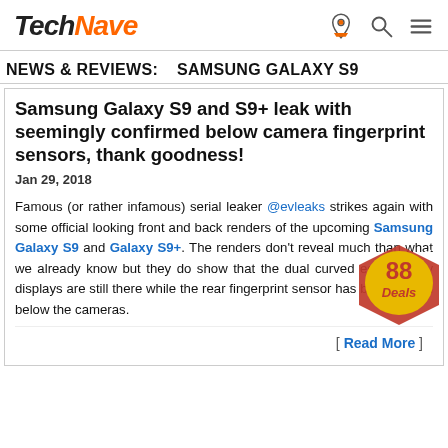TechNave
NEWS & REVIEWS:   SAMSUNG GALAXY S9
Samsung Galaxy S9 and S9+ leak with seemingly confirmed below camera fingerprint sensors, thank goodness!
Jan 29, 2018
Famous (or rather infamous) serial leaker @evleaks strikes again with some official looking front and back renders of the upcoming Samsung Galaxy S9 and Galaxy S9+. The renders don't reveal much than what we already know but they do show that the dual curved edge Infinity displays are still there while the rear fingerprint sensor has been moved below the cameras.
[ Read More ]